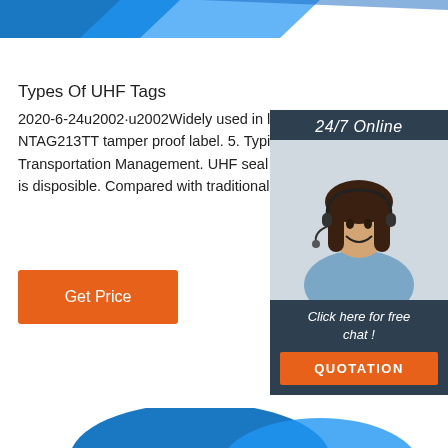[Figure (illustration): Blue decorative header bar with triangular shapes at top of page]
Types Of UHF Tags
2020-6-24u2002·u2002Widely used in liquid package NTAG213TT tamper proof label. 5. Typical Application Transportation Management. UHF seal tag. Normally is disposible. Compared with traditional lead-. seale
[Figure (photo): Customer service representative woman with headset, sidebar widget with 24/7 Online label, Click here for free chat text, and QUOTATION button]
Get Price
[Figure (illustration): TOP back-to-top icon with orange dots arranged in triangle above TOP text]
[Figure (illustration): Blue decorative footer bar at bottom of page]